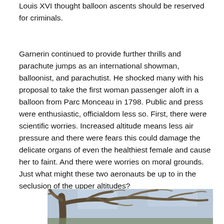Louis XVI thought balloon ascents should be reserved for criminals.
Garnerin continued to provide further thrills and parachute jumps as an international showman, balloonist, and parachutist. He shocked many with his proposal to take the first woman passenger aloft in a balloon from Parc Monceau in 1798. Public and press were enthusiastic, officialdom less so. First, there were scientific worries. Increased altitude means less air pressure and there were fears this could damage the delicate organs of even the healthiest female and cause her to faint. And there were worries on moral grounds. Just what might these two aeronauts be up to in the seclusion of the upper altitudes?
[Figure (photo): Photograph showing bare tree branches against a light sky background, partially cropped at bottom of page.]